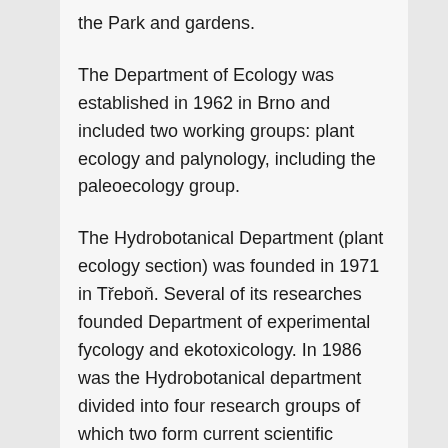the Park and gardens.
The Department of Ecology was established in 1962 in Brno and included two working groups: plant ecology and palynology, including the paleoecology group.
The Hydrobotanical Department (plant ecology section) was founded in 1971 in Třeboň. Several of its researches founded Department of experimental fycology and ekotoxicology. In 1986 was the Hydrobotanical department divided into four research groups of which two form current scientific departments in Třeboň and subsequently the department itself became Research Division... From 1998 it functioned...